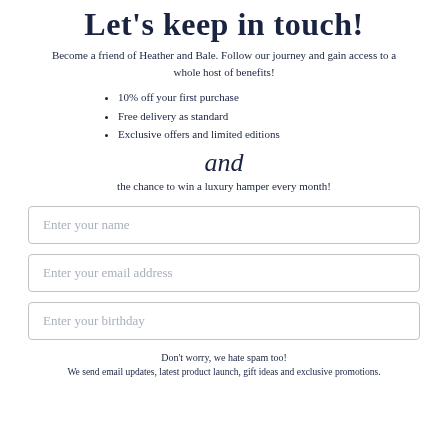Let's keep in touch!
Become a friend of Heather and Bale. Follow our journey and gain access to a whole host of benefits!
10% off your first purchase
Free delivery as standard
Exclusive offers and limited editions
and
the chance to win a luxury hamper every month!
Enter your name
Enter your email address
Enter your birthday
Don't worry, we hate spam too!
We send email updates, latest product launch, gift ideas and exclusive promotions.